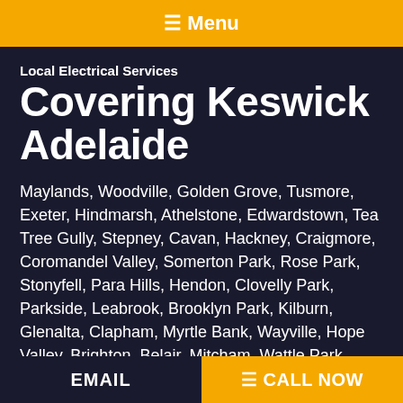☰ Menu
Local Electrical Services
Covering Keswick Adelaide
Maylands, Woodville, Golden Grove, Tusmore, Exeter, Hindmarsh, Athelstone, Edwardstown, Tea Tree Gully, Stepney, Cavan, Hackney, Craigmore, Coromandel Valley, Somerton Park, Rose Park, Stonyfell, Para Hills, Hendon, Clovelly Park, Parkside, Leabrook, Brooklyn Park, Kilburn, Glenalta, Clapham, Myrtle Bank, Wayville, Hope Valley, Brighton, Belair, Mitcham, Wattle Park, Fulham, Aberfoyle Park, Marion, Cumberland Park, Linden Park, Brompton,
EMAIL   ☰ CALL NOW